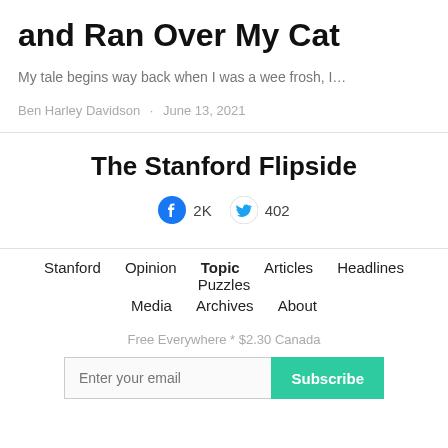and Ran Over My Cat
My tale begins way back when I was a wee frosh, I…
Ben Harley Davidson · June 13, 2021
The Stanford Flipside
2K  402
Stanford   Opinion   Topic   Articles   Headlines   Puzzles   Media   Archives   About
Free Everywhere * $2.30 Canada